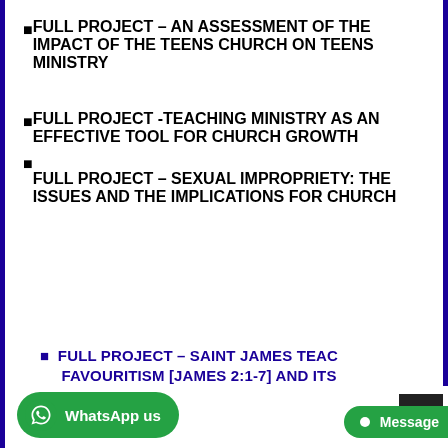FULL PROJECT – AN ASSESSMENT OF THE IMPACT OF THE TEENS CHURCH ON TEENS MINISTRY
FULL PROJECT -TEACHING MINISTRY AS AN EFFECTIVE TOOL FOR CHURCH GROWTH
FULL PROJECT – SEXUAL IMPROPRIETY: THE ISSUES AND THE IMPLICATIONS FOR CHURCH
FULL PROJECT – SAINT JAMES TEACHING ON FAVOURITISM [JAMES 2:1-7] AND ITS